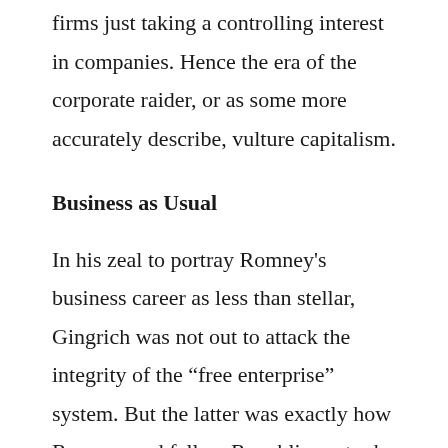firms just taking a controlling interest in companies. Hence the era of the corporate raider, or as some more accurately describe, vulture capitalism.
Business as Usual
In his zeal to portray Romney's business career as less than stellar, Gingrich was not out to attack the integrity of the “free enterprise” system. But the latter was exactly how Romney and fellow Republicans took Gingrich's